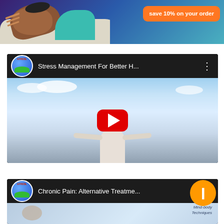[Figure (illustration): Banner image showing a person sleeping/resting with an orange badge overlay saying 'save 10% on your order']
save 10% on your order
[Figure (screenshot): YouTube video thumbnail for 'Stress Management For Better H...' from AFREBL channel, showing a woman in meditation pose with arms spread wide against a sky background, with a red play button in the center]
[Figure (screenshot): YouTube video thumbnail for 'Chronic Pain: Alternative Treatme...' from AFREBL channel, showing mind-body techniques imagery, partially visible at bottom of page]